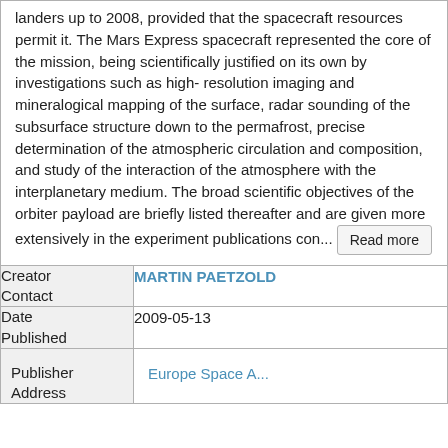landers up to 2008, provided that the spacecraft resources permit it. The Mars Express spacecraft represented the core of the mission, being scientifically justified on its own by investigations such as high- resolution imaging and mineralogical mapping of the surface, radar sounding of the subsurface structure down to the permafrost, precise determination of the atmospheric circulation and composition, and study of the interaction of the atmosphere with the interplanetary medium. The broad scientific objectives of the orbiter payload are briefly listed thereafter and are given more extensively in the experiment publications con... Read more
| Creator Contact | Date Published | Publisher Address |
| --- | --- | --- |
| MARTIN PAETZOLD |
| 2009-05-13 |
| Europe Space ... |